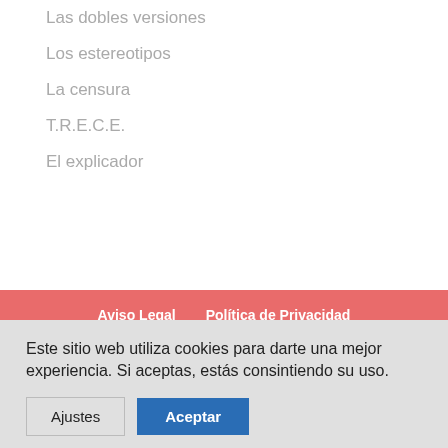Las dobles versiones
Los estereotipos
La censura
T.R.E.C.E.
El explicador
Aviso Legal    Política de Privacidad
Este sitio web utiliza cookies para darte una mejor experiencia. Si aceptas, estás consintiendo su uso.